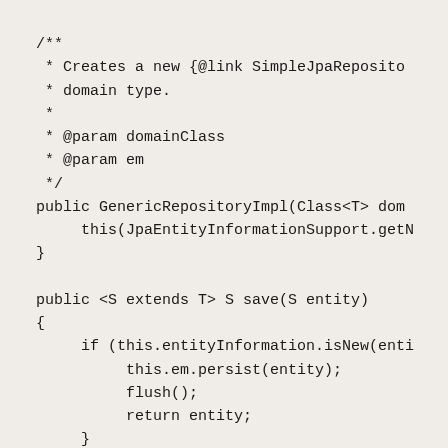/**
 * Creates a new {@link SimpleJpaReposito
 * domain type.
 *
 * @param domainClass
 * @param em
 */
public GenericRepositoryImpl(Class<T> dom
     this(JpaEntityInformationSupport.getN
}

public <S extends T> S save(S entity)
{
     if (this.entityInformation.isNew(enti
          this.em.persist(entity);
          flush();
          return entity;
     }
entity = this.em.merge(entity);
flush();